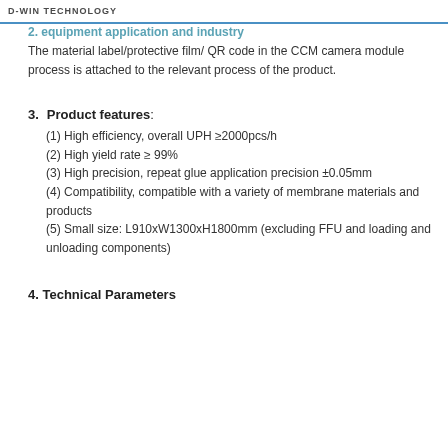D-WIN TECHNOLOGY
2. equipment application and industry
The material label/protective film/ QR code in the CCM camera module process is attached to the relevant process of the product.
3. Product features:
(1) High efficiency, overall UPH ≥2000pcs/h
(2) High yield rate ≥ 99%
(3) High precision, repeat glue application precision ±0.05mm
(4) Compatibility, compatible with a variety of membrane materials and products
(5) Small size: L910xW1300xH1800mm (excluding FFU and loading and unloading components)
4. Technical Parameters